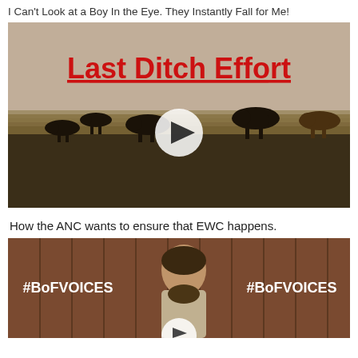I Can't Look at a Boy In the Eye. They Instantly Fall for Me!
[Figure (screenshot): Video thumbnail showing cattle in a field with text 'Last Ditch Effort' in bold red with underline, and a play button overlay]
How the ANC wants to ensure that EWC happens.
[Figure (screenshot): Video thumbnail showing a man at a podium with '#BoFVOICES' branding and a play button overlay]